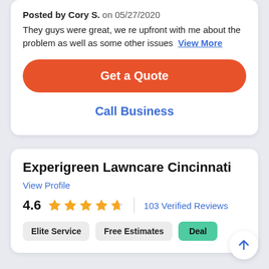Posted by Cory S. on 05/27/2020
They guys were great, we re upfront with me about the problem as well as some other issues. View More
Get a Quote
Call Business
Experigreen Lawncare Cincinnati
View Profile
4.6 ★★★★★ | 103 Verified Reviews
Elite Service
Free Estimates
Deal